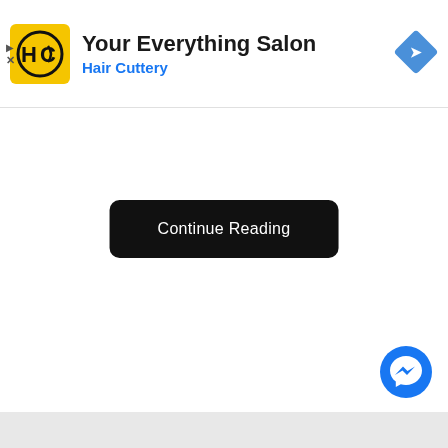[Figure (screenshot): Hair Cuttery advertisement banner with yellow circular logo showing HC letters, title 'Your Everything Salon', subtitle 'Hair Cuttery' in blue, and a blue diamond navigation icon on the right]
Continue Reading
[Figure (logo): Facebook Messenger circular button icon in blue]